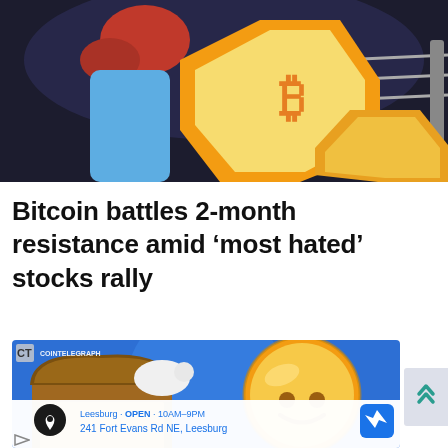[Figure (illustration): Illustrated image of a boxer figure with a gold/yellow Bitcoin coin in a boxing ring context, partial crop showing top portion]
Bitcoin battles 2-month resistance amid ‘most hated’ stocks rally
[Figure (illustration): CoinTelegraph branded illustration showing a gold coin character with a treasure chest on a blue background, with a Google Maps ad overlay at the bottom showing Leesburg OPEN 10AM-9PM and 241 Fort Evans Rd NE, Leesburg]